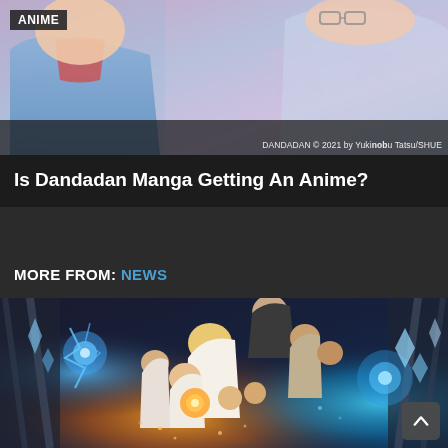[Figure (illustration): Anime manga artwork showing characters from Dandadan with pink/blue color scheme, two anime characters visible at top]
ANIME
DANDADAN © 2021 by Yukinobu Tatsu/SHUE
Is Dandadan Manga Getting An Anime?
MORE FROM: NEWS
[Figure (illustration): Anime artwork showing a group of children characters in dramatic action scene with glowing blue energy effects and dark background, from The Promised Neverland or similar anime]